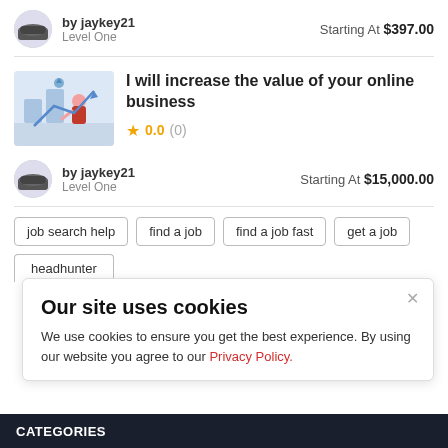by jaykey21
Level One
Starting At $397.00
[Figure (illustration): Thumbnail image showing a person at a desk with a chart, illustrating online business growth]
I will increase the value of your online business
★ 0.0 (0)
by jaykey21
Level One
Starting At $15,000.00
job search help
find a job
find a job fast
get a job
headhunter
Our site uses cookies
We use cookies to ensure you get the best experience. By using our website you agree to our Privacy Policy.
CATEGORIES